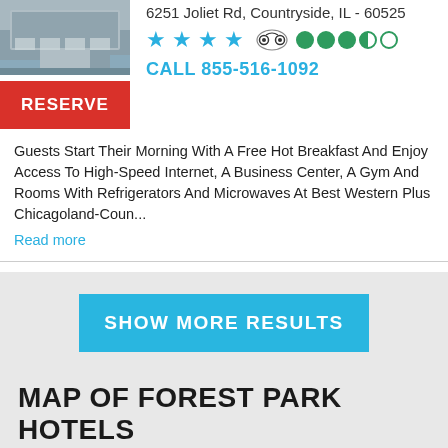6251 Joliet Rd, Countryside, IL - 60525
[Figure (other): Hotel building exterior photo]
RESERVE
CALL 855-516-1092
Guests Start Their Morning With A Free Hot Breakfast And Enjoy Access To High-Speed Internet, A Business Center, A Gym And Rooms With Refrigerators And Microwaves At Best Western Plus Chicagoland-Coun...
Read more
SHOW MORE RESULTS
MAP OF FOREST PARK HOTELS
View all Forest Park, Illinois hotels, motels, lodging and attractions on Forest Park, Illinois location map.
[Figure (map): Forest Park Illinois location map preview]